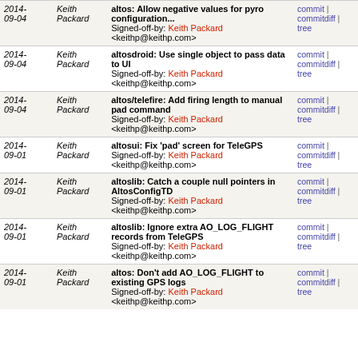| Date | Author | Commit Message | Links |
| --- | --- | --- | --- |
| 2014-09-04 | Keith Packard | altos: Allow negative values for pyro configuration...
Signed-off-by: Keith Packard <keithp@keithp.com> | commit | commitdiff | tree |
| 2014-09-04 | Keith Packard | altosdroid: Use single object to pass data to UI
Signed-off-by: Keith Packard <keithp@keithp.com> | commit | commitdiff | tree |
| 2014-09-04 | Keith Packard | altos/telefire: Add firing length to manual pad command
Signed-off-by: Keith Packard <keithp@keithp.com> | commit | commitdiff | tree |
| 2014-09-01 | Keith Packard | altosui: Fix 'pad' screen for TeleGPS
Signed-off-by: Keith Packard <keithp@keithp.com> | commit | commitdiff | tree |
| 2014-09-01 | Keith Packard | altoslib: Catch a couple null pointers in AltosConfigTD
Signed-off-by: Keith Packard <keithp@keithp.com> | commit | commitdiff | tree |
| 2014-09-01 | Keith Packard | altoslib: Ignore extra AO_LOG_FLIGHT records from TeleGPS
Signed-off-by: Keith Packard <keithp@keithp.com> | commit | commitdiff | tree |
| 2014-09-01 | Keith Packard | altos: Don't add AO_LOG_FLIGHT to existing GPS logs
Signed-off-by: Keith Packard <keithp@keithp.com> | commit | commitdiff | tree |